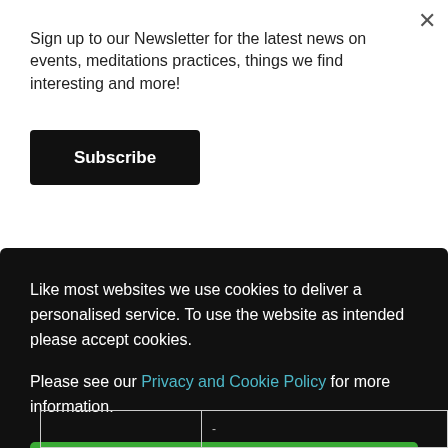Sign up to our Newsletter for the latest news on events, meditations practices, things we find interesting and more!
Subscribe
| Price | £92.00 |
| Item | TRAUMA WORKSHOP OCT 2022 - |
Like most websites we use cookies to deliver a personalised service. To use the website as intended please accept cookies.
Please see our Privacy and Cookie Policy for more information.
Accept Cookies